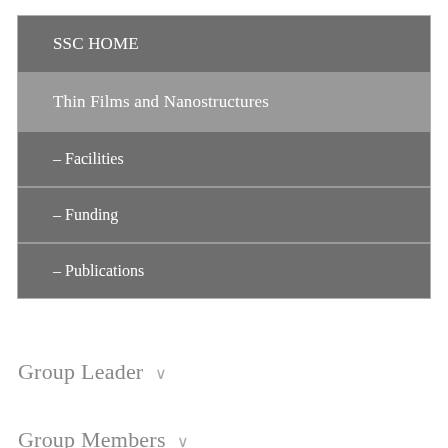SSC HOME
Thin Films and Nanostructures
– Facilities
– Funding
– Publications
Group Leader ∨
Group Members ∨
Former Group Members ∨